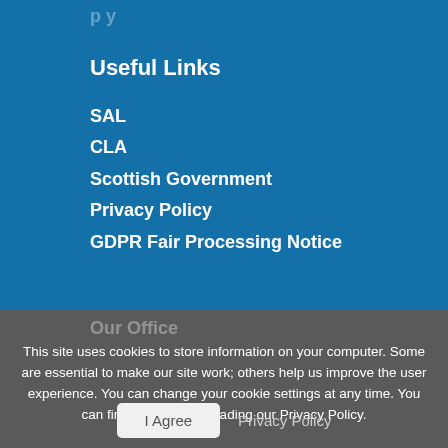Useful Links
SAL
CLA
Scottish Government
Privacy Policy
GDPR Fair Processing Notice
Our Office
This site uses cookies to store information on your computer. Some are essential to make our site work; others help us improve the user experience. You can change your cookie settings at any time. You can find out more by reading our Privacy Policy.
I Agree   Privacy Policy